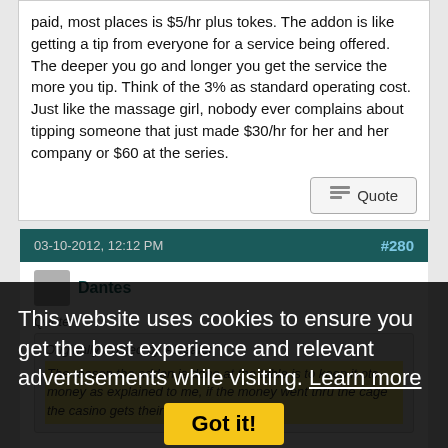paid, most places is $5/hr plus tokes. The addon is like getting a tip from everyone for a service being offered. The deeper you go and longer you get the service the more you tip. Think of the 3% as standard operating cost. Just like the massage girl, nobody ever complains about tipping someone that just made $30/hr for her and her company or $60 at the series.
Quote
03-10-2012, 12:12 PM   #280
Dantes
Quote:
Originally Posted by ADealer
The reason the addon is done at the table is to keep it otc money as explained to me, if the money went thru the cage the casino gets their cut.
lol because it's impossible for the casino to not steal from you? The person who told you this clearly thinks you're not
This website uses cookies to ensure you get the best experience and relevant advertisements while visiting. Learn more
Got it!